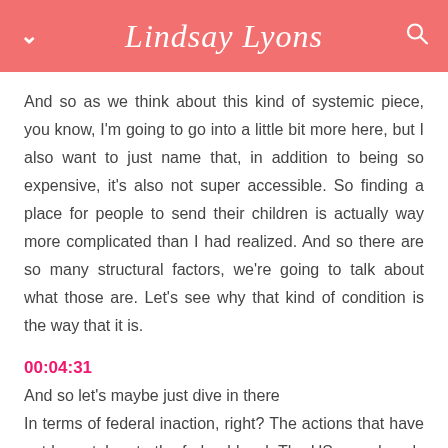Lindsay Lyons
And so as we think about this kind of systemic piece, you know, I'm going to go into a little bit more here, but I also want to just name that, in addition to being so expensive, it's also not super accessible. So finding a place for people to send their children is actually way more complicated than I had realized. And so there are so many structural factors, we're going to talk about what those are. Let's see why that kind of condition is the way that it is.
00:04:31
And so let's maybe just dive in there
In terms of federal inaction, right? The actions that have not been taken to the federal level. The US spends only a 3rd of 1% of GDP on childcare. Compared with an average